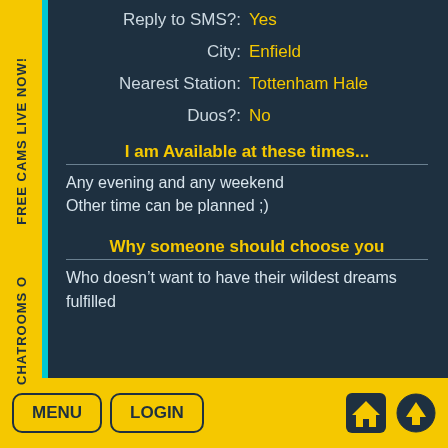Reply to SMS?: Yes
City: Enfield
Nearest Station: Tottenham Hale
Duos?: No
I am Available at these times...
Any evening and any weekend
Other time can be planned ;)
Why someone should choose you
Who doesn’t want to have their wildest dreams fulfilled
MENU  LOGIN